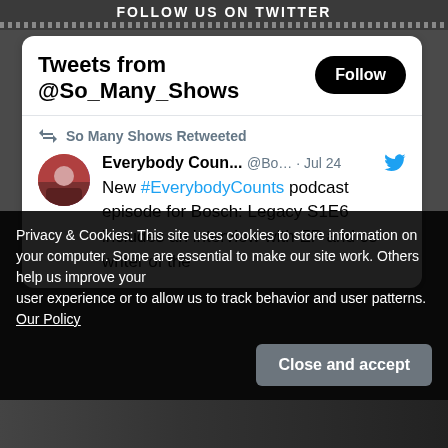FOLLOW US ON TWITTER
Tweets from @So_Many_Shows
Follow
So Many Shows Retweeted
Everybody Coun... @Bo... · Jul 24
New #EverybodyCounts podcast episode for Bosch: Legacy S1E6 includes an interview with EP and co-writer of the
Privacy & Cookies: This site uses cookies to store information on your computer. Some are essential to make our site work. Others help us improve your user experience or to allow us to track behavior and user patterns. Our Policy
Close and accept